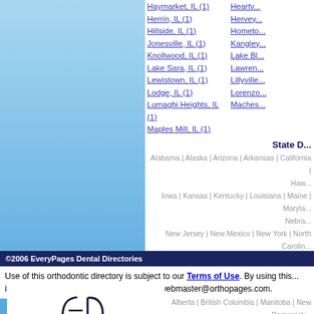Haymarket, IL (1)
Herrin, IL (1)
Hillside, IL (1)
Jonesville, IL (1)
Knollwood, IL (1)
Lake Sara, IL (1)
Lewistown, IL (1)
Lodge, IL (1)
Lumaghi Heights, IL (1)
Maples Mill, IL (1)
Heartv...
Hervey...
Hometo...
Kangley...
Lake Bl...
Lawren...
Lillyville...
Lorenzo...
Maches...
State D...
Alabama | Alaska | Arizona | Arkansas | California | ... Haw...
Iowa | Kansas | Kentucky | Louisiana | Maine | Maryla... Nebra...
New Jersey | New Mexico | New York | North Carolin... South Carolina | ...
Vermont | Virginia | Was...
Find ar...
Alberta | British Columbia | Manitoba | New Brunswick... Ontario | Prince Edw...
©2006 EveryPages Dental Directories
Use of this orthodontic directory is subject to our Terms of Use. By using this... information that is incorrect, please email webmaster@orthopages.com.
[Figure (logo): An EveryPages Directory logo with stylized EP monogram]